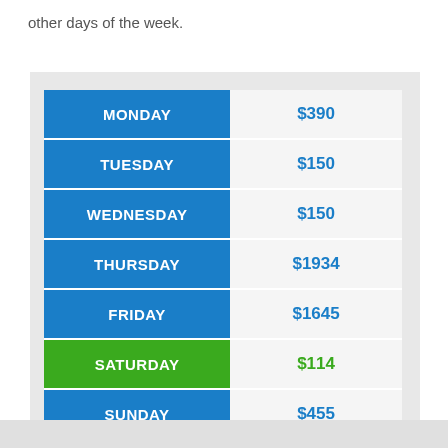other days of the week.
| Day | Amount |
| --- | --- |
| MONDAY | $390 |
| TUESDAY | $150 |
| WEDNESDAY | $150 |
| THURSDAY | $1934 |
| FRIDAY | $1645 |
| SATURDAY | $114 |
| SUNDAY | $455 |